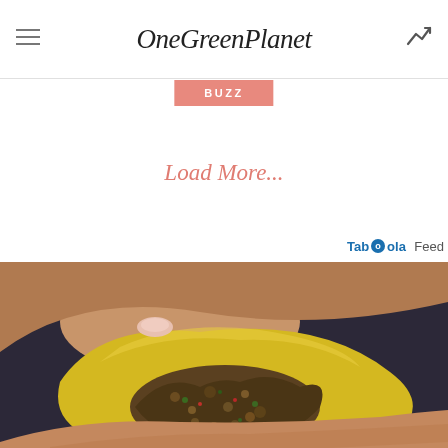OneGreenPlanet
BUZZ
Load More...
Taboola Feed
[Figure (photo): A hand holding an open yellow pastry or empanada filled with a spiced ground meat and vegetable mixture, held against a dark blue background.]